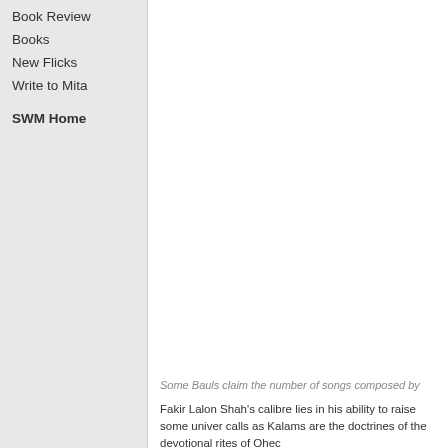Book Review
Books
New Flicks
Write to Mita
SWM Home
Some Bauls claim the number of songs composed by
Fakir Lalon Shah's calibre lies in his ability to raise some universal calls as Kalams are the doctrines of the devotional rites of Ohed
According to the experts, Lalon composed about two thousands disciple of Fakir Lalon Shah. He was authorised to do manuscri stage verses were considered simply as the manifestation of dis disciple, Fakir Khoda Baksh Shah, attempted to put these Kala Shah was appointed as principal at Bau